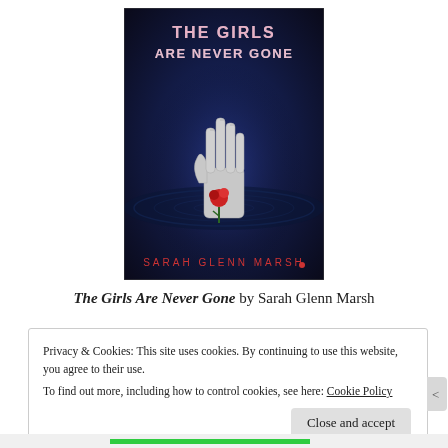[Figure (illustration): Book cover of 'The Girls Are Never Gone' by Sarah Glenn Marsh. Dark background with a skeletal hand emerging from water, holding a red rose. Title text at top in distressed pink/white font.]
The Girls Are Never Gone by Sarah Glenn Marsh
Privacy & Cookies: This site uses cookies. By continuing to use this website, you agree to their use.
To find out more, including how to control cookies, see here: Cookie Policy
Close and accept